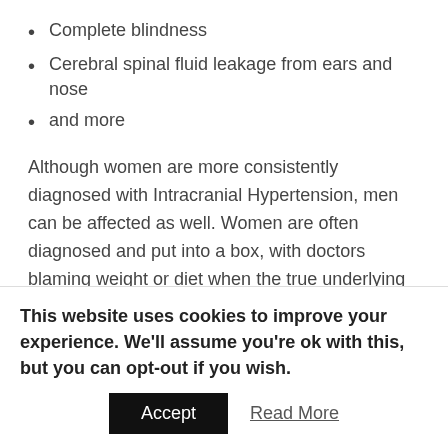Complete blindness
Cerebral spinal fluid leakage from ears and nose
and more
Although women are more consistently diagnosed with Intracranial Hypertension, men can be affected as well. Women are often diagnosed and put into a box, with doctors blaming weight or diet when the true underlying cause of Intercranial Hypertension remains unknown, hence the ‘idiopathic’ part of IIH. Unlike suffering from a physical brain tumor people with IIH don’t have advocacy or support. There are no awareness walks or well funded studies for a cure. In fact, there is no cure for Idiopathic Intracranial Hypertension. You can manage the diagnosis with a variety of medications, none of which are
This website uses cookies to improve your experience. We'll assume you're ok with this, but you can opt-out if you wish.
Accept  Read More